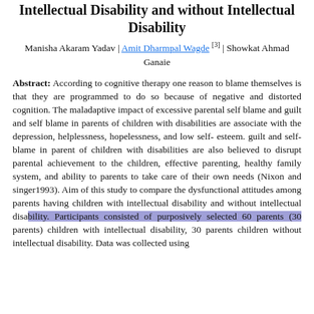Intellectual Disability and without Intellectual Disability
Manisha Akaram Yadav | Amit Dharmpal Wagde [3] | Showkat Ahmad Ganaie
Abstract: According to cognitive therapy one reason to blame themselves is that they are programmed to do so because of negative and distorted cognition. The maladaptive impact of excessive parental self blame and guilt and self blame in parents of children with disabilities are associate with the depression, helplessness, hopelessness, and low self- esteem. guilt and self-blame in parent of children with disabilities are also believed to disrupt parental achievement to the children, effective parenting, healthy family system, and ability to parents to take care of their own needs (Nixon and singer1993). Aim of this study to compare the dysfunctional attitudes among parents having children with intellectual disability and without intellectual disability. Participants consisted of purposively selected 60 parents (30 parents) children with intellectual disability, 30 parents children without intellectual disability. Data was collected using